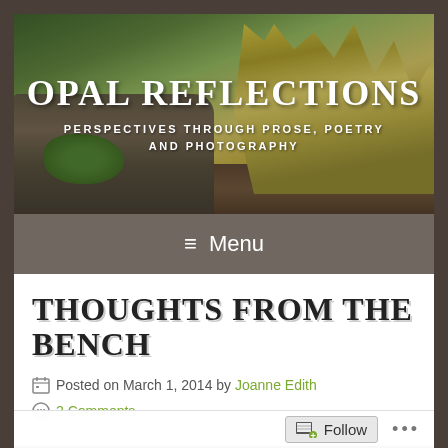[Figure (photo): Blog header image showing a stone wall with ornamental grasses and shrubs, with text overlay 'OPAL REFLECTIONS' and subtitle 'PERSPECTIVES THROUGH PROSE, POETRY AND PHOTOGRAPHY']
OPAL REFLECTIONS
PERSPECTIVES THROUGH PROSE, POETRY AND PHOTOGRAPHY
≡ Menu
THOUGHTS FROM THE BENCH
Posted on March 1, 2014 by Joanne Edith
2 Comments
Follow ...